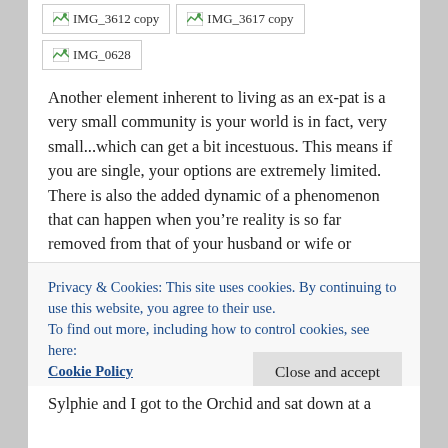[Figure (photo): Broken image placeholder labeled IMG_3612 copy]
[Figure (photo): Broken image placeholder labeled IMG_3617 copy]
[Figure (photo): Broken image placeholder labeled IMG_0628]
Another element inherent to living as an ex-pat is a very small community is your world is in fact, very small...which can get a bit incestuous. This means if you are single, your options are extremely limited. There is also the added dynamic of a phenomenon that can happen when you’re reality is so far removed from that of your husband or wife or partner living back home. Communication is limited and chances to see each other, rare. Your reality becomes the small, isolated world around you. You
Privacy & Cookies: This site uses cookies. By continuing to use this website, you agree to their use.
To find out more, including how to control cookies, see here:
Cookie Policy
Close and accept
Sylphie and I got to the Orchid and sat down at a